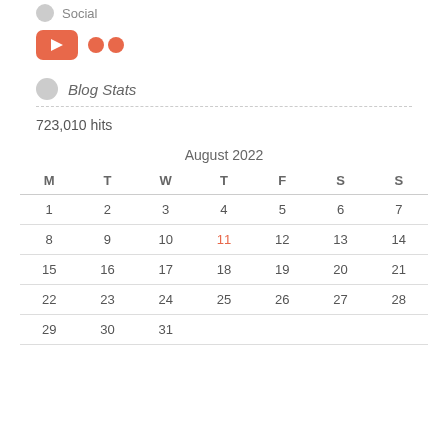Social
[Figure (illustration): YouTube icon (orange rounded rectangle with white play triangle) and Flickr icon (two orange circles)]
Blog Stats
723,010 hits
| M | T | W | T | F | S | S |
| --- | --- | --- | --- | --- | --- | --- |
| 1 | 2 | 3 | 4 | 5 | 6 | 7 |
| 8 | 9 | 10 | 11 | 12 | 13 | 14 |
| 15 | 16 | 17 | 18 | 19 | 20 | 21 |
| 22 | 23 | 24 | 25 | 26 | 27 | 28 |
| 29 | 30 | 31 |  |  |  |  |